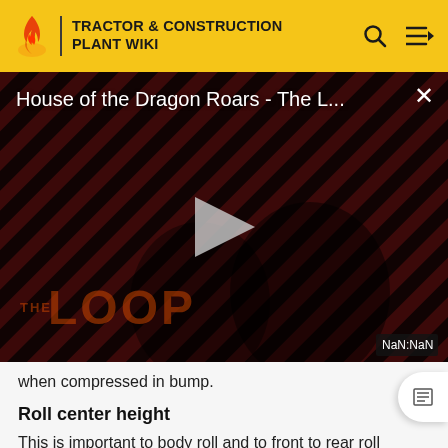TRACTOR & CONSTRUCTION PLANT WIKI
[Figure (screenshot): Video player showing 'House of the Dragon Roars - The L...' with a play button in the center, diagonal red and black stripes background, THE LOOP text at bottom left, NaN:NaN timestamp at bottom right, and an X close button top right.]
when compressed in bump.
Roll center height
This is important to body roll and to front to rear roll stiffness distribution. However, the roll stiffness